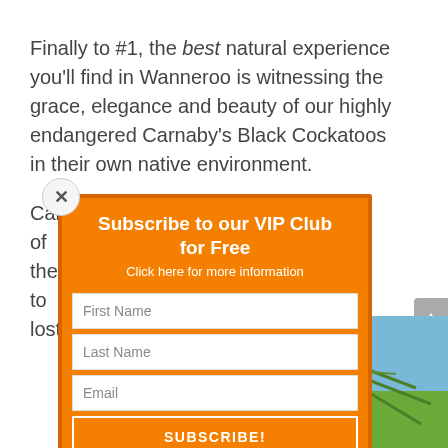Finally to #1, the best natural experience you'll find in Wanneroo is witnessing the grace, elegance and beauty of our highly endangered Carnaby's Black Cockatoos in their own native environment.
Carnaby's are one of only two species of White-Tailed Black Cockatoos. Both the … Baudin's are … endemic to … you will only find … they are lost … they're gone
[Figure (screenshot): VIP Club subscription popup with orange background, close button (x), heading 'Subscribe to our VIP Club for Free', link 'Click here for more information', form fields for First Name, Last Name, Email, a SUBSCRIBE! button, and privacy text 'Privacy: We will never pass on your details to any third party']
[Figure (photo): Photo of a plant (likely Banksia) with a brown cylindrical cone/flower spike, green foliage, against a blue sky background]